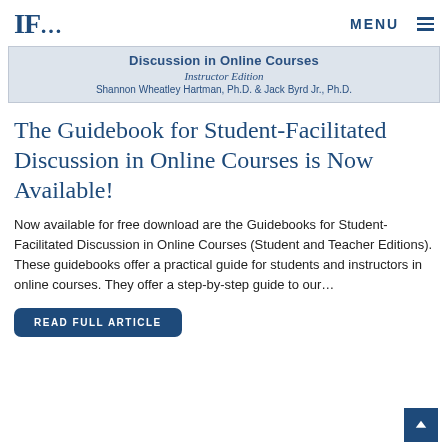IF…  MENU
[Figure (other): Book cover banner showing text: Discussion in Online Courses, Instructor Edition, Shannon Wheatley Hartman, Ph.D. & Jack Byrd Jr., Ph.D.]
The Guidebook for Student-Facilitated Discussion in Online Courses is Now Available!
Now available for free download are the Guidebooks for Student-Facilitated Discussion in Online Courses (Student and Teacher Editions). These guidebooks offer a practical guide for students and instructors in online courses. They offer a step-by-step guide to our…
READ FULL ARTICLE